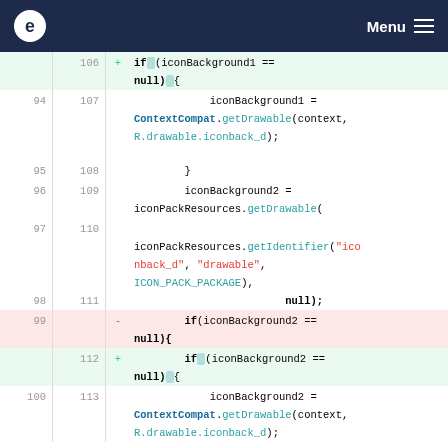e  Menu ≡
[Figure (screenshot): Code diff view showing Java/Android code. Lines 94-100 (old) and 106-113 (new) of a diff. Added lines (green background) show: line 106: '+ if (iconBackground1 == null) {', line 112: '+ if (iconBackground2 == null) {'. Unchanged lines show iconBackground1 and iconBackground2 assignments using ContextCompat.getDrawable and iconPackResources.getDrawable with getIdentifier. Removed line (red background) 99: '- if(iconBackground2 == null){'.]